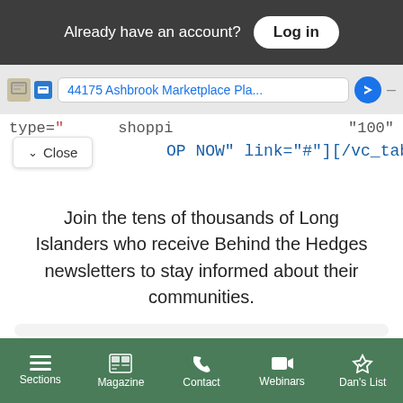Already have an account? Log in
[Figure (screenshot): Browser address bar showing '44175 Ashbrook Marketplace Pla...' URL with blue location arrow icon]
type="   shoppi   '100"
Close
OP NOW" link="#"][/vc_tab][vc_tab
Join the tens of thousands of Long Islanders who receive Behind the Hedges newsletters to stay informed about their communities.
Free Newsletters 2
Hedges Daily
Sections  Magazine  Contact  Webinars  Dan's List